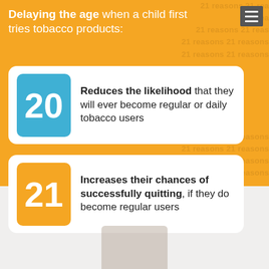Delaying the age when a child first tries tobacco products:
20 — Reduces the likelihood that they will ever become regular or daily tobacco users
21 — Increases their chances of successfully quitting, if they do become regular users
[Figure (photo): Partial view of a photo at the bottom of the page on a grey background]